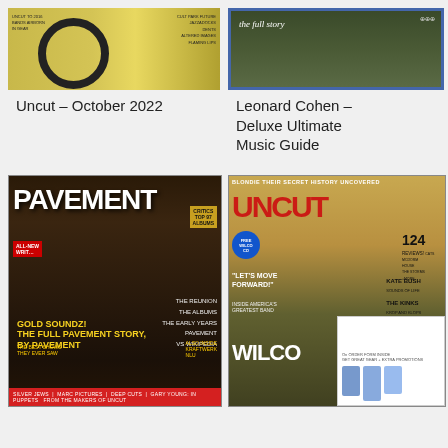[Figure (photo): Magazine cover thumbnail: Uncut October 2022, yellow background with peace symbol]
Uncut – October 2022
[Figure (photo): Magazine cover thumbnail: Leonard Cohen Deluxe Ultimate Music Guide, dark green background, 'the full story' text, blue border]
Leonard Cohen – Deluxe Ultimate Music Guide
[Figure (photo): Magazine cover: Pavement special issue. Dark background, band photo, large PAVEMENT title. 'GOLD SOUNDZ: THE FULL PAVEMENT STORY, BY PAVEMENT'. Red bar at bottom with text about Silver Jews, Marc Pictures, Deep Cuts, Gary Young, JJ Puppets.]
[Figure (photo): Magazine cover: Uncut featuring Wilco. 'BLONDIE THEIR SECRET HISTORY UNCOVERED', large UNCUT logo in red, man in hat, WILCO headline, side panel listing Kate Bush, The Kinks, Cosey Fanni Tutti, Steve Hillage, Paul McCartney, Little Feat, Night of a Thousand Bowies. Free Wilco CD offer. 124 Reviews. Secondary card insert partially visible.]